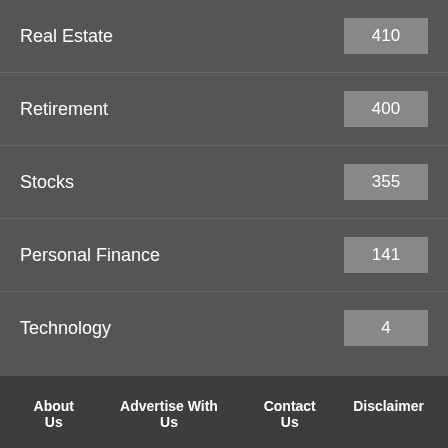Real Estate  410
Retirement  400
Stocks  355
Personal Finance  141
Technology  4
About Us  Advertise With Us  Contact Us  Disclaimer  Privacy Policy  Cookie Law  Terms & Conditions
This website uses cookies to improve your experience. We'll assume you're ok with this, but you can opt-out if you wish.
Cookie settings  ACCEPT
Terms and Conditions · Privacy Policy